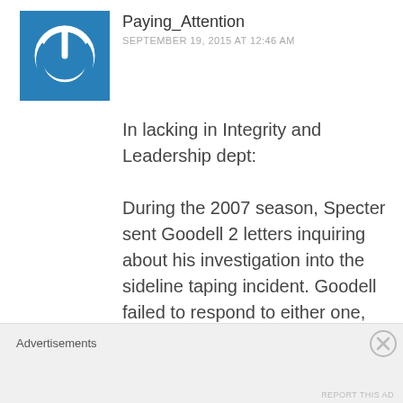[Figure (illustration): Blue square avatar with white power button icon]
Paying_Attention
SEPTEMBER 19, 2015 AT 12:46 AM
In lacking in Integrity and Leadership dept:

During the 2007 season, Specter sent Goodell 2 letters inquiring about his investigation into the sideline taping incident. Goodell failed to respond to either one, until Specter went to the media on SB weekend
Advertisements
[Figure (illustration): Close/dismiss button circle with X]